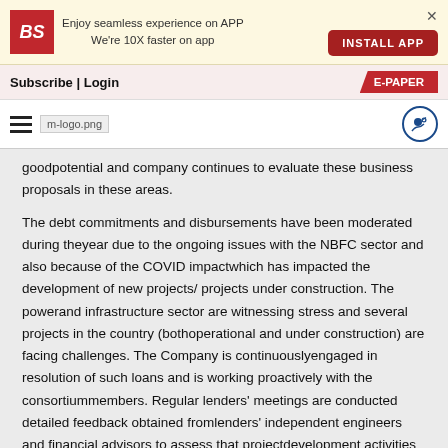[Figure (logo): Business Standard app install banner with BS logo, text 'Enjoy seamless experience on APP We're 10X faster on app', INSTALL APP button, and close X]
Subscribe | Login  E-PAPER
[Figure (logo): Hamburger menu icon, m-logo.png image placeholder, and profile/share icon]
goodpotential and company continues to evaluate these business proposals in these areas.
The debt commitments and disbursements have been moderated during theyear due to the ongoing issues with the NBFC sector and also because of the COVID impactwhich has impacted the development of new projects/ projects under construction. The powerand infrastructure sector are witnessing stress and several projects in the country (bothoperational and under construction) are facing challenges. The Company is continuouslyengaged in resolution of such loans and is working proactively with the consortiummembers. Regular lenders' meetings are conducted detailed feedback obtained fromlenders' independent engineers and financial advisors to assess that projectdevelopment activities are taken. Discussions are held with